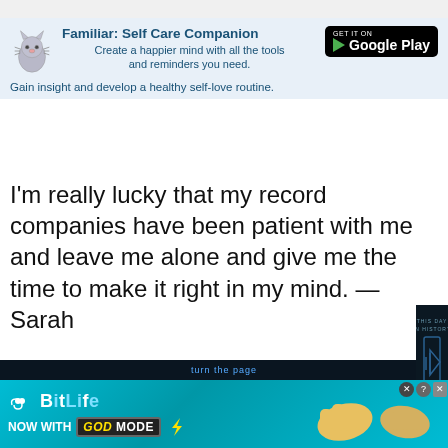[Figure (screenshot): App advertisement banner for 'Familiar: Self Care Companion' with cat icon, Google Play badge, and subtitle text on light blue background]
I'm really lucky that my record companies have been patient with me and leave me alone and give me the time to make it right in my mind. — Sarah
You May Like...
[Figure (screenshot): Dark video panel overlay showing 'THIS DAY IN HISTORY' with media player icon and SEPTEMBER label, partially covering the main content]
[Figure (screenshot): Bottom advertisement banner for BitLife app - 'NOW WITH GOD MODE' on teal/cyan background with hand and lightning graphics]